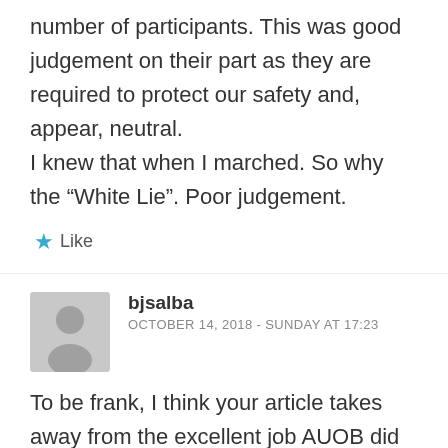number of participants. This was good judgement on their part as they are required to protect our safety and, appear, neutral.
I knew that when I marched. So why the “White Lie”. Poor judgement.
★ Like
bjsalba
OCTOBER 14, 2018 - SUNDAY AT 17:23
To be frank, I think your article takes away from the excellent job AUOB did in getting the march up running and going off without any trouble, which I am sure...